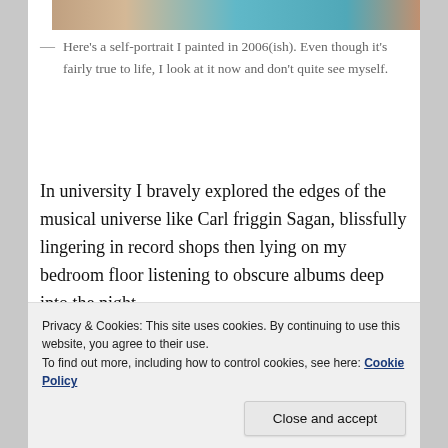[Figure (photo): Partial view of a self-portrait painting — cropped strip showing colors of face and background]
Here's a self-portrait I painted in 2006(ish). Even though it's fairly true to life, I look at it now and don't quite see myself.
In university I bravely explored the edges of the musical universe like Carl friggin Sagan, blissfully lingering in record shops then lying on my bedroom floor listening to obscure albums deep into the night.
Privacy & Cookies: This site uses cookies. By continuing to use this website, you agree to their use.
To find out more, including how to control cookies, see here: Cookie Policy